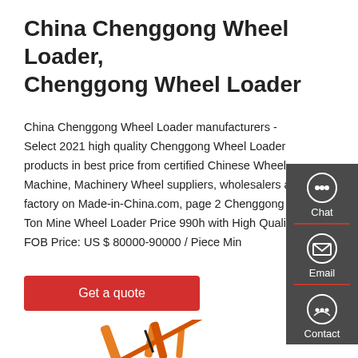China Chenggong Wheel Loader, Chenggong Wheel Loader
China Chenggong Wheel Loader manufacturers - Select 2021 high quality Chenggong Wheel Loader products in best price from certified Chinese Wheel Machine, Machinery Wheel suppliers, wholesalers and factory on Made-in-China.com, page 2 Chenggong 9 Ton Mine Wheel Loader Price 990h with High Quality FOB Price: US $ 80000-90000 / Piece Min
[Figure (other): Red 'Get a quote' button]
[Figure (other): Dark sidebar panel with Chat, Email, Contact icons]
[Figure (photo): Orange/yellow construction wheel loader machine arm, partially cropped at bottom]